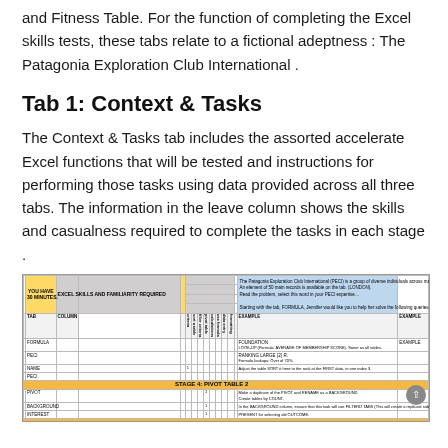and Fitness Table. For the function of completing the Excel skills tests, these tabs relate to a fictional adeptness : The Patagonia Exploration Club International .
Tab 1: Context & Tasks
The Context & Tasks tab includes the assorted accelerate Excel functions that will be tested and instructions for performing those tasks using data provided across all three tabs. The information in the leave column shows the skills and casualness required to complete the tasks in each stage .
[Figure (screenshot): Screenshot of an Excel spreadsheet showing a Context & Tasks tab for the Patagonia Exploration Club International skill test. The spreadsheet shows stages including Stage 4: Pivot Table 2 and Stage 5: Sorting and Pivotchart, with columns for skills, tasks, and instructions. A YOU HAVE 30 MINUTES note is visible.]